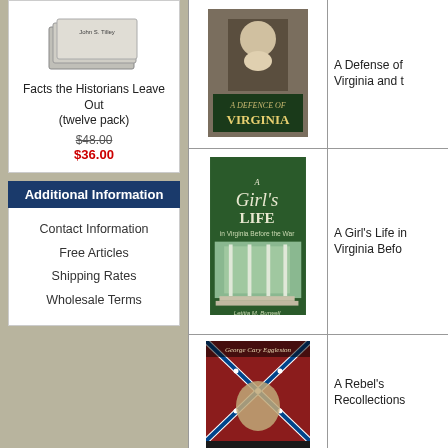[Figure (illustration): Stack of books - Facts the Historians Leave Out (twelve pack)]
Facts the Historians Leave Out (twelve pack)
$48.00
$36.00
Additional Information
Contact Information
Free Articles
Shipping Rates
Wholesale Terms
[Figure (photo): Book cover: A Defence of Virginia]
A Defense of Virginia and t
[Figure (photo): Book cover: A Girl's Life in Virginia Before the War]
A Girl's Life in Virginia Befo
[Figure (photo): Book cover: A Rebel's Recollections by George Cary Eggleston]
A Rebel's Recollections